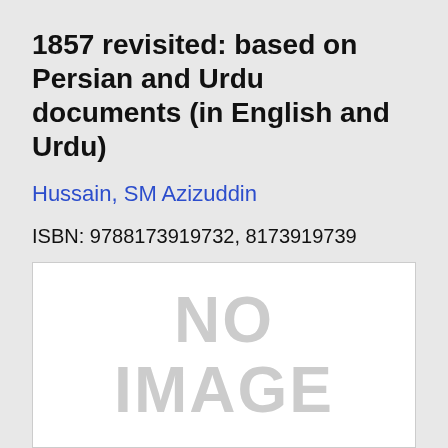1857 revisited: based on Persian and Urdu documents (in English and Urdu)
Hussain, SM Azizuddin
ISBN: 9788173919732, 8173919739
[Figure (other): Placeholder image showing 'NO IMAGE' text in large grey letters on a white background]